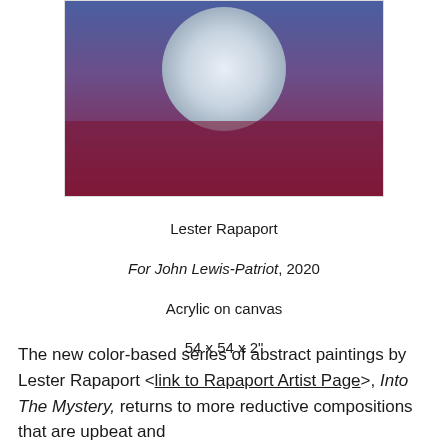[Figure (photo): Painting showing an abstract composition with a large white/light grey circle against a gradient background transitioning from blue-purple at top to deep red/crimson at bottom. The painting is displayed on a white background with a thin border.]
Lester Rapaport
For John Lewis-Patriot, 2020
Acrylic on canvas
54 x 54 x 2"
The new color-based series of abstract paintings by Lester Rapaport <link to Rapaport Artist Page>, Into The Mystery, returns to more reductive compositions that are upbeat and